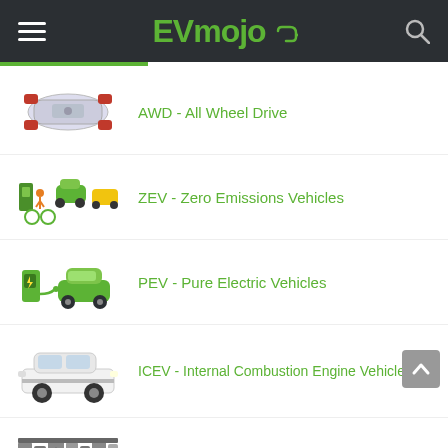EVmojo
AWD - All Wheel Drive
ZEV - Zero Emissions Vehicles
PEV - Pure Electric Vehicles
ICEV - Internal Combustion Engine Vehicle
ICE - Internal Combustion Engine